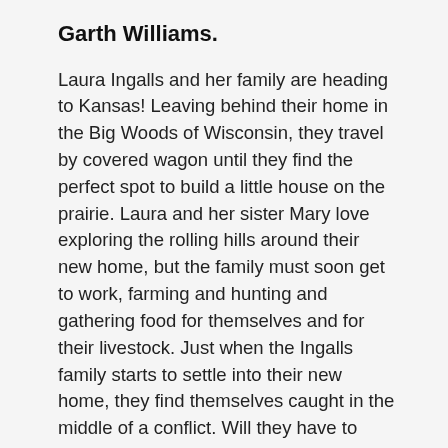Garth Williams.
Laura Ingalls and her family are heading to Kansas! Leaving behind their home in the Big Woods of Wisconsin, they travel by covered wagon until they find the perfect spot to build a little house on the prairie. Laura and her sister Mary love exploring the rolling hills around their new home, but the family must soon get to work, farming and hunting and gathering food for themselves and for their livestock. Just when the Ingalls family starts to settle into their new home, they find themselves caught in the middle of a conflict. Will they have to move again?
The nine books in the timeless Little House series tell the story of Laura's real childhood as an American pioneer, and are cherished by readers of all generations. They offer a unique glimpse into life on the American frontier, and tell the heartwarming, unforgettable story of a loving family.